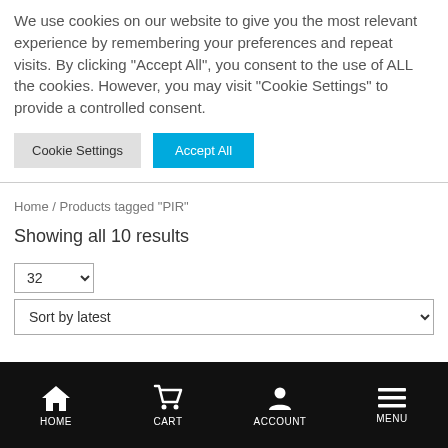We use cookies on our website to give you the most relevant experience by remembering your preferences and repeat visits. By clicking "Accept All", you consent to the use of ALL the cookies. However, you may visit "Cookie Settings" to provide a controlled consent.
Cookie Settings | Accept All
Home / Products tagged "PIR"
Showing all 10 results
32 | Sort by latest
HOME  CART  ACCOUNT  MENU